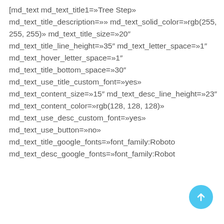[md_text md_text_title1=»Tree Step» md_text_title_description=»» md_text_solid_color=»rgb(255, 255, 255)» md_text_title_size=»20″ md_text_title_line_height=»35″ md_text_letter_space=»1″ md_text_hover_letter_space=»1″ md_text_title_bottom_space=»30″ md_text_use_title_custom_font=»yes» md_text_content_size=»15″ md_text_desc_line_height=»23″ md_text_content_color=»rgb(128, 128, 128)» md_text_use_desc_custom_font=»yes» md_text_use_button=»no» md_text_title_google_fonts=»font_family:Roboto md_text_desc_google_fonts=»font_family:Roboto
[Figure (other): Circular blue button with upward arrow icon (scroll to top / FAB button)]